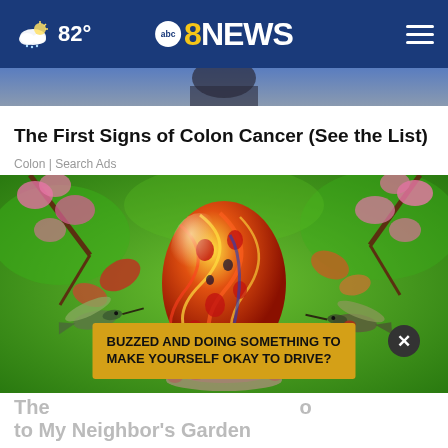82° — abc 8NEWS — menu
[Figure (photo): Partial top portion of a person's image, cropped]
The First Signs of Colon Cancer (See the List)
Colon | Search Ads
[Figure (photo): Colorful glass art hummingbird feeder shaped like an egg with red, yellow, and green swirled glass, surrounded by pink flowering trees and hummingbirds on a green background. An ad overlay reads: BUZZED AND DOING SOMETHING TO MAKE YOURSELF OKAY TO DRIVE? with a close X button.]
The [partially visible] ... to My Neighbor's Garden